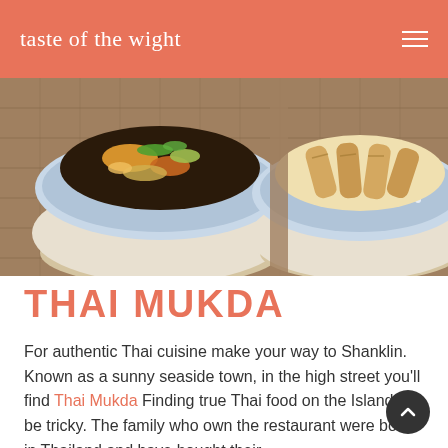taste of the wight
[Figure (photo): Two blue and white ceramic Thai bowls filled with food — one with stir-fried vegetables and prawns, one with spring rolls — on a woven mat background.]
THAI MUKDA
For authentic Thai cuisine make your way to Shanklin. Known as a sunny seaside town, in the high street you'll find Thai Mukda Finding true Thai food on the Island can be tricky. The family who own the restaurant were born in Thailand and have bought their